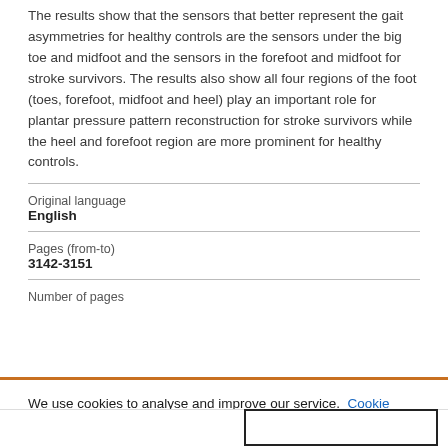The results show that the sensors that better represent the gait asymmetries for healthy controls are the sensors under the big toe and midfoot and the sensors in the forefoot and midfoot for stroke survivors. The results also show all four regions of the foot (toes, forefoot, midfoot and heel) play an important role for plantar pressure pattern reconstruction for stroke survivors while the heel and forefoot region are more prominent for healthy controls.
| Original language | English |
| Pages (from-to) | 3142-3151 |
| Number of pages |  |
We use cookies to analyse and improve our service. Cookie Policy